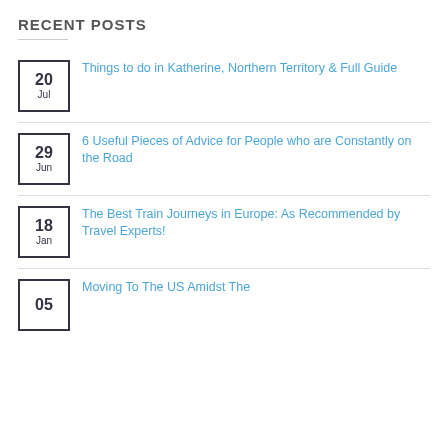RECENT POSTS
20 Jul — Things to do in Katherine, Northern Territory & Full Guide
29 Jun — 6 Useful Pieces of Advice for People who are Constantly on the Road
18 Jan — The Best Train Journeys in Europe: As Recommended by Travel Experts!
05 — Moving To The US Amidst The